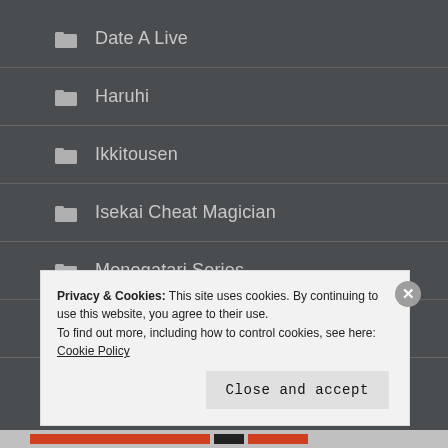Date A Live
Haruhi
Ikkitousen
Isekai Cheat Magician
Monogatari Series
Pastel Memories
Privacy & Cookies: This site uses cookies. By continuing to use this website, you agree to their use. To find out more, including how to control cookies, see here: Cookie Policy
Close and accept